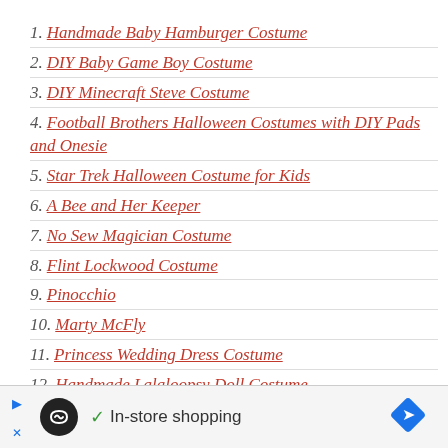1. Handmade Baby Hamburger Costume
2. DIY Baby Game Boy Costume
3. DIY Minecraft Steve Costume
4. Football Brothers Halloween Costumes with DIY Pads and Onesie
5. Star Trek Halloween Costume for Kids
6. A Bee and Her Keeper
7. No Sew Magician Costume
8. Flint Lockwood Costume
9. Pinocchio
10. Marty McFly
11. Princess Wedding Dress Costume
12. Handmade Lalaloopsy Doll Costume
[Figure (other): Advertisement bar at bottom: circular logo icon, play/stop button, checkmark with 'In-store shopping' text, navigation arrow diamond]